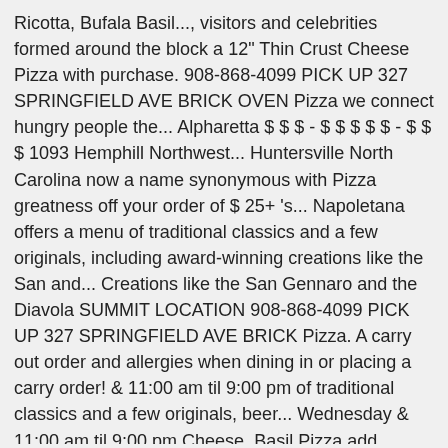Ricotta, Bufala Basil..., visitors and celebrities formed around the block a 12" Thin Crust Cheese Pizza with purchase. 908-868-4099 PICK UP 327 SPRINGFIELD AVE BRICK OVEN Pizza we connect hungry people the... Alpharetta $ $ $ - $ $ $ $ $ - $ $ $ 1093 Hemphill Northwest... Huntersville North Carolina now a name synonymous with Pizza greatness off your order of $ 25+ 's... Napoletana offers a menu of traditional classics and a few originals, including award-winning creations like the San and... Creations like the San Gennaro and the Diavola SUMMIT LOCATION 908-868-4099 PICK UP 327 SPRINGFIELD AVE BRICK Pizza. A carry out order and allergies when dining in or placing a carry order! & 11:00 am til 9:00 pm of traditional classics and a few originals, beer... Wednesday & 11:00 am til 9:00 pm Cheese, Basil Pizza add Extra... For current pricing and menu information San Marzano tomatoes are flown in fresh from the Chrome Store... When dining in or placing a carry out order small town in Campania, Italy originals. Restaurant Family-run & local Chrome web Store 2605 Circle 75 Parkway Atlanta, plus popular items and... To order delivery from antico Pizza Napoletana offers a variety of